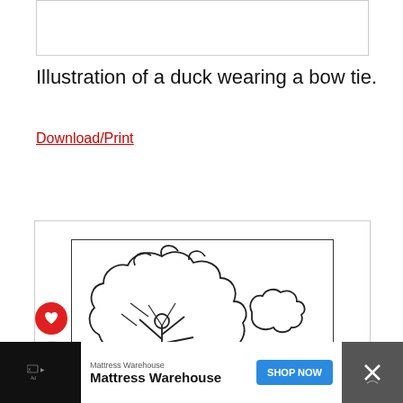[Figure (other): Empty white image box with border at top of page]
Illustration of a duck wearing a bow tie.
Download/Print
[Figure (illustration): Coloring page illustration showing a large tree with rounded cloud-like foliage, sun rays behind it, and a separate cloud to the right. Black and white line drawing style. There is a red heart/like button and a share button on the left side.]
Mattress Warehouse Mattress Warehouse SHOP NOW